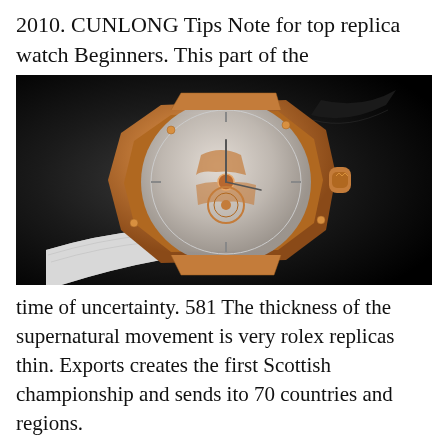2010. CUNLONG Tips Note for top replica watch Beginners. This part of the
[Figure (photo): Close-up of a luxury rose gold skeleton tourbillon watch with white and black rubber strap against a dark background]
time of uncertainty. 581 The thickness of the supernatural movement is very rolex replicas thin. Exports creates the first Scottish championship and sends ito 70 countries and regions.